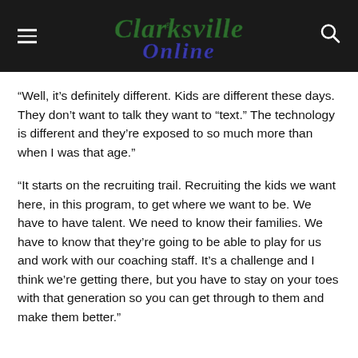Clarksville Online
“Well, it’s definitely different. Kids are different these days. They don’t want to talk they want to “text.” The technology is different and they’re exposed to so much more than when I was that age.”
“It starts on the recruiting trail. Recruiting the kids we want here, in this program, to get where we want to be. We have to have talent. We need to know their families. We have to know that they’re going to be able to play for us and work with our coaching staff. It’s a challenge and I think we’re getting there, but you have to stay on your toes with that generation so you can get through to them and make them better.”